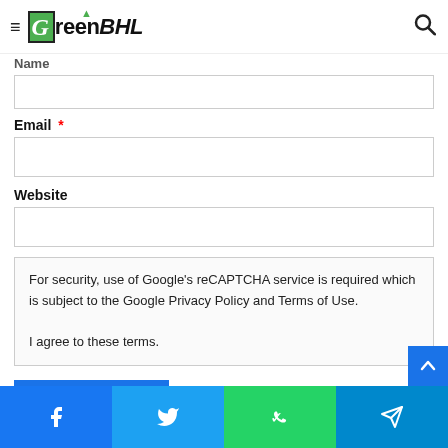GreenBHL
Name
Email *
Website
For security, use of Google's reCAPTCHA service is required which is subject to the Google Privacy Policy and Terms of Use.

I agree to these terms.
Post Comment